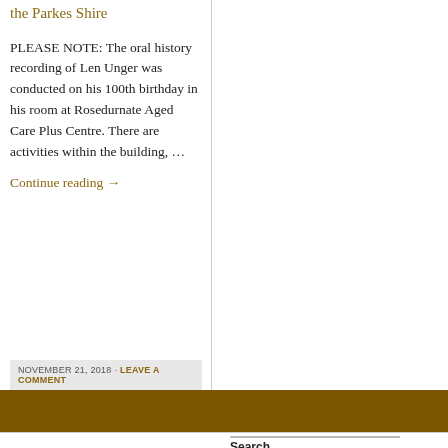the Parkes Shire
PLEASE NOTE: The oral history recording of Len Unger was conducted on his 100th birthday in his room at Rosedurnate Aged Care Plus Centre. There are activities within the building, …
Continue reading →
NOVEMBER 21, 2018 · LEAVE A COMMENT
Search